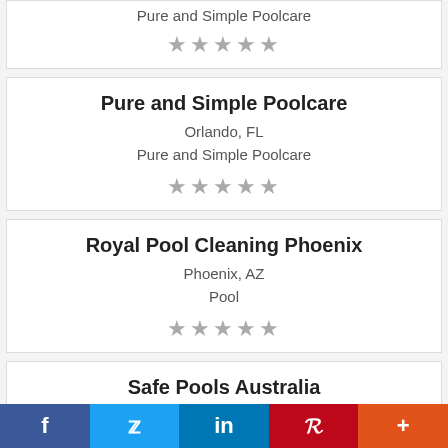Pure and Simple Poolcare
★★★★★
Pure and Simple Poolcare
Orlando, FL
Pure and Simple Poolcare
★★★★★
Royal Pool Cleaning Phoenix
Phoenix, AZ
Pool
★★★★★
Safe Pools Australia
The Safe Pools Australia team are Qualified & Registered Building Inspectors for pools
f  🐦  in  P  +